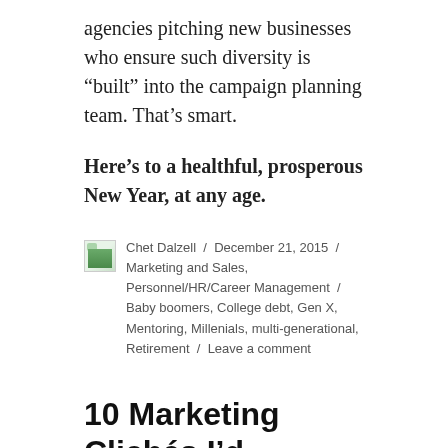agencies pitching new businesses who ensure such diversity is “built” into the campaign planning team. That’s smart.
Here’s to a healthful, prosperous New Year, at any age.
Chet Dalzell / December 21, 2015 / Marketing and Sales, Personnel/HR/Career Management / Baby boomers, College debt, Gen X, Mentoring, Millenials, multi-generational, Retirement / Leave a comment
10 Marketing Clichés I’d Challenge to a Fight if I Met Them in the Street